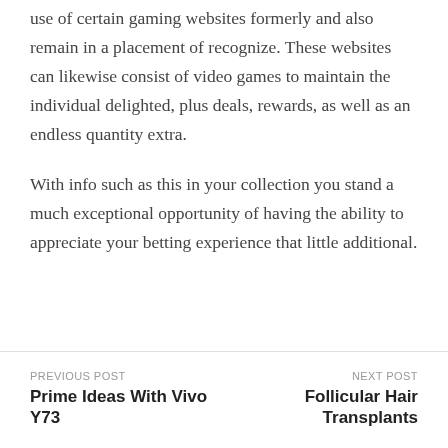use of certain gaming websites formerly and also remain in a placement of recognize. These websites can likewise consist of video games to maintain the individual delighted, plus deals, rewards, as well as an endless quantity extra.
With info such as this in your collection you stand a much exceptional opportunity of having the ability to appreciate your betting experience that little additional.
PREVIOUS POST: Prime Ideas With Vivo Y73 | NEXT POST: Follicular Hair Transplants